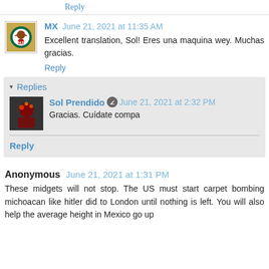Reply
MX  June 21, 2021 at 11:35 AM
Excellent translation, Sol! Eres una maquina wey. Muchas gracias.
Reply
▾ Replies
Sol Prendido  June 21, 2021 at 2:32 PM
Gracias. Cuídate compa
Reply
Anonymous  June 21, 2021 at 1:31 PM
These midgets will not stop. The US must start carpet bombing michoacan like hitler did to London until nothing is left. You will also help the average height in Mexico go up